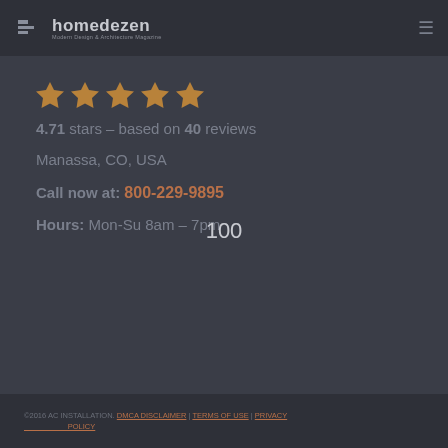homedezen Modern Design & Architecture Magazine
[Figure (illustration): Five gold/amber ribbon-style bookmark star rating icons in a row]
4.71 stars – based on 40 reviews
Manassa, CO, USA
Call now at: 800-229-9895
100
Hours: Mon-Su 8am – 7pm
©2016 AC INSTALLATION. DMCA DISCLAIMER | TERMS OF USE | PRIVACY POLICY